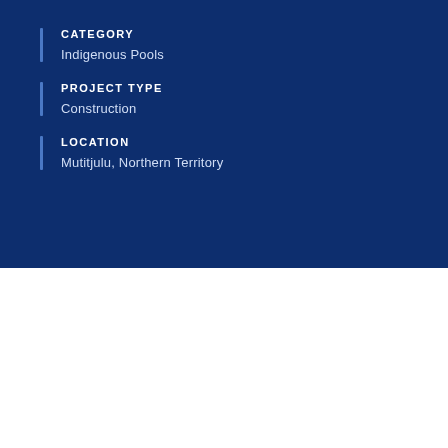CATEGORY
Indigenous Pools
PROJECT TYPE
Construction
LOCATION
Mutitjulu, Northern Territory
Mutitjulu Tjurpinytjaku Centre
Mutitjulu – Northern Territory